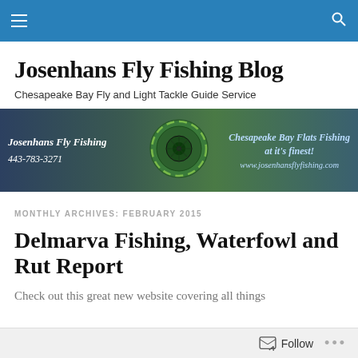Navigation bar with menu and search icons
Josenhans Fly Fishing Blog
Chesapeake Bay Fly and Light Tackle Guide Service
[Figure (photo): Josenhans Fly Fishing banner showing a fishing reel, green foliage background, text: 'Josenhans Fly Fishing', '443-783-3271', 'Chesapeake Bay Flats Fishing at it's finest!', 'www.josenhansflyfishing.com']
MONTHLY ARCHIVES: FEBRUARY 2015
Delmarva Fishing, Waterfowl and Rut Report
Check out this great new website covering all things
Follow